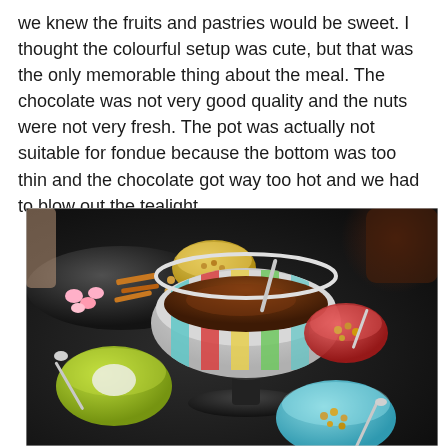we knew the fruits and pastries would be sweet. I thought the colourful setup was cute, but that was the only memorable thing about the meal. The chocolate was not very good quality and the nuts were not very fresh. The pot was actually not suitable for fondue because the bottom was too thin and the chocolate got way too hot and we had to blow out the tealight.
[Figure (photo): A chocolate fondue set on a dark table with a central striped ceramic fondue pot filled with dark chocolate, surrounded by several small colourful bowls containing nuts, marshmallows, and other dipping accompaniments, with silver spoons in the bowls.]